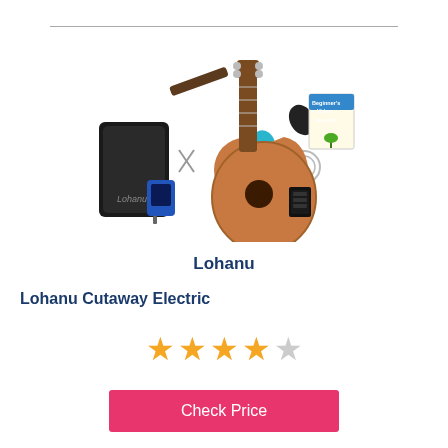[Figure (photo): Lohanu ukulele starter kit product photo showing ukulele, gig bag, tuner, strap, picks, strings, and beginner's video lessons booklet]
Lohanu
Lohanu Cutaway Electric
[Figure (other): 4 out of 5 star rating shown as gold and grey stars]
Check Price